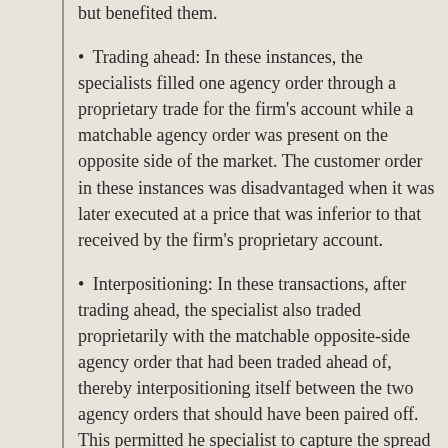but benefited them.
Trading ahead: In these instances, the specialists filled one agency order through a proprietary trade for the firm's account while a matchable agency order was present on the opposite side of the market. The customer order in these instances was disadvantaged when it was later executed at a price that was inferior to that received by the firm's proprietary account.
Interpositioning: In these transactions, after trading ahead, the specialist also traded proprietarily with the matchable opposite-side agency order that had been traded ahead of, thereby interpositioning itself between the two agency orders that should have been paired off. This permitted he specialist to capture the spread between the purchase and sales price and disadvantaged the public.